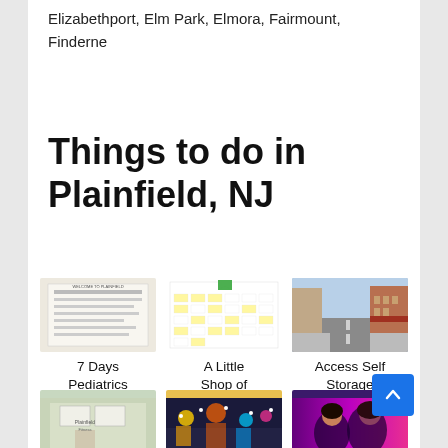Elizabethport, Elm Park, Elmora, Fairmount, Finderne
Things to do in Plainfield, NJ
[Figure (photo): Thumbnail image of 7 Days Pediatrics document]
7 Days Pediatrics
[Figure (photo): Thumbnail image of A Little Shop of Comics calendar/schedule]
A Little Shop of Comics
[Figure (photo): Thumbnail image of Access Self Storage street view]
Access Self Storage
[Figure (photo): Thumbnail image of a store front]
[Figure (photo): Thumbnail image of a fair/carnival]
[Figure (photo): Thumbnail image of people at an event]